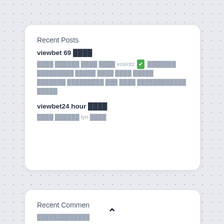Recent Posts
viewbet 69 ████
████ ██████ ████ ████ xoslotz ✅ ███████ █████████ █████ ████ ████ █████ ███████ █████████ ███ ████ ████████████ █████
viewbet24 hour ████
████ ██████ lyn ████
Recent Comments
██████████████████████